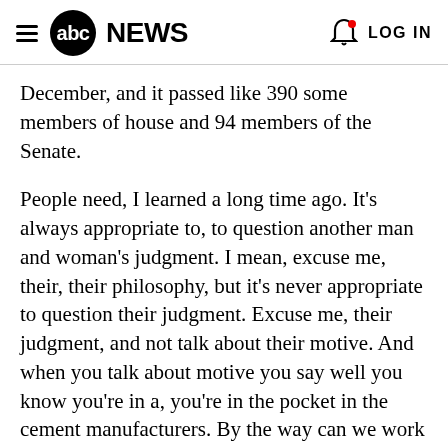abc NEWS  LOG IN
December, and it passed like 390 some members of house and 94 members of the Senate.
People need, I learned a long time ago. It's always appropriate to, to question another man and woman's judgment. I mean, excuse me, their, their philosophy, but it's never appropriate to question their judgment. Excuse me, their judgment, and not talk about their motive. And when you talk about motive you say well you know you're in a, you're in the pocket in the cement manufacturers. By the way can we work something out of the transportation bill? You can't get anything